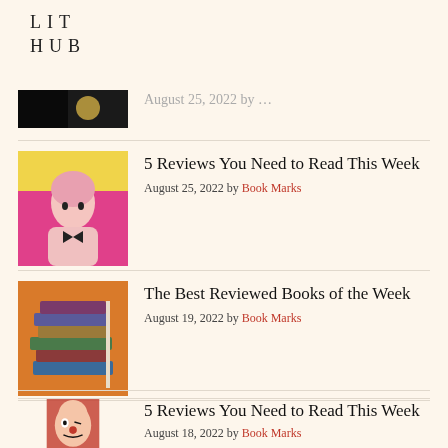LIT HUB
[Figure (photo): Partial view of a dark photograph, cropped at top of page]
5 Reviews You Need to Read This Week
August 25, 2022 by Book Marks
[Figure (photo): Stack of books photograph]
The Best Reviewed Books of the Week
August 19, 2022 by Book Marks
[Figure (illustration): Illustrated face with clown-like features]
5 Reviews You Need to Read This Week
August 18, 2022 by Book Marks
[Figure (logo): CrimeReads logo with red drop]